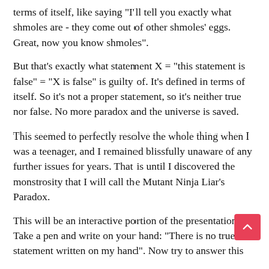terms of itself, like saying "I'll tell you exactly what shmoles are - they come out of other shmoles' eggs. Great, now you know shmoles".
But that's exactly what statement X = "this statement is false" = "X is false" is guilty of. It's defined in terms of itself. So it's not a proper statement, so it's neither true nor false. No more paradox and the universe is saved.
This seemed to perfectly resolve the whole thing when I was a teenager, and I remained blissfully unaware of any further issues for years. That is until I discovered the monstrosity that I will call the Mutant Ninja Liar's Paradox.
This will be an interactive portion of the presentation. Take a pen and write on your hand: "There is no true statement written on my hand". Now try to answer this
Question: is there a true statement written on my hand?